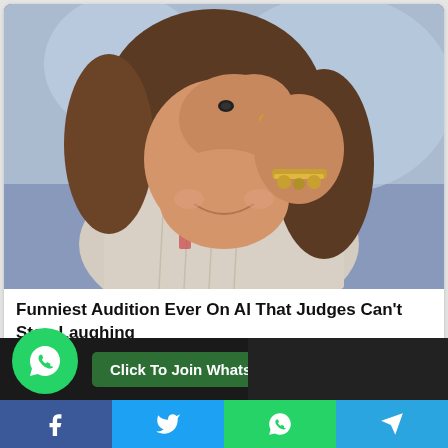[Figure (photo): Woman with long brown hair covering her face with both hands, smiling/laughing, wearing rings and bracelets, with a patterned blouse. Background appears to be a painted or illustrated backdrop.]
Funniest Audition Ever On AI That Judges Can't Stop Laughing
More...
410  103  137
[Figure (screenshot): WhatsApp join button banner: green WhatsApp circle icon on left, dark background with green 'Click To Join Whatsapp' button]
Facebook | Twitter | WhatsApp | Telegram share buttons